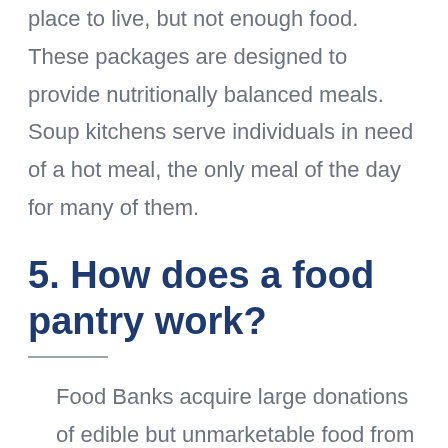place to live, but not enough food. These packages are designed to provide nutritionally balanced meals. Soup kitchens serve individuals in need of a hot meal, the only meal of the day for many of them.
5. How does a food pantry work?
Food Banks acquire large donations of edible but unmarketable food from the food industry and distribute it to organizations that feed hungry people. Then they provide this food to